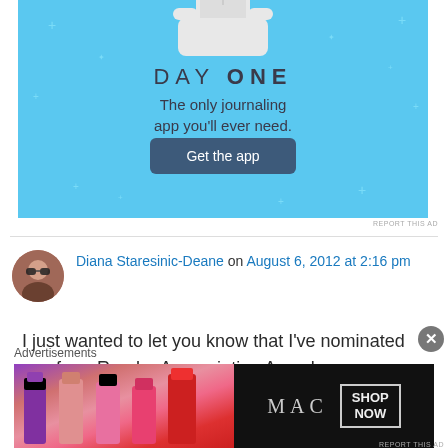[Figure (screenshot): Day One journaling app advertisement on light blue background with sparkle stars. Shows 'DAY ONE' title, tagline 'The only journaling app you'll ever need.' and a 'Get the app' button.]
REPORT THIS AD
Diana Staresinic-Deane on August 6, 2012 at 2:16 pm
I just wanted to let you know that I've nominated you for a Reader Appreciation Award.
http://dianastaresinicdeane.wordpress.com/2012
Advertisements
[Figure (screenshot): MAC cosmetics advertisement showing lipsticks on dark background with MAC logo text and 'SHOP NOW' box.]